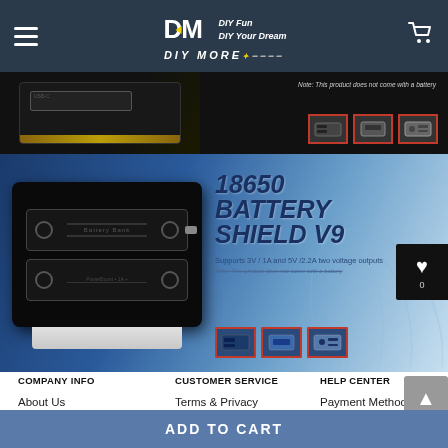DIY MORE — DIY Fun DIY Your Dream
[Figure (screenshot): Top product banner showing a circuit board/battery shield on dark background with thumbnails and note text]
[Figure (screenshot): Main product banner: 18650 Battery Shield V9, showing device with dual battery slots, USB port, product title, subtitle 'Supports 3V/1A and 5V/2.2A two voltage outputs', note and thumbnails, wishlist button with 0 count]
COMPANY INFO
CUSTOMER SERVICE
HELP CENTER
About Us
Terms & Privacy Policy
Payment Method
Contact Us
Privacy Policy
Shipping & Delivery
Wholesale
Return & Refund
ADD TO CART